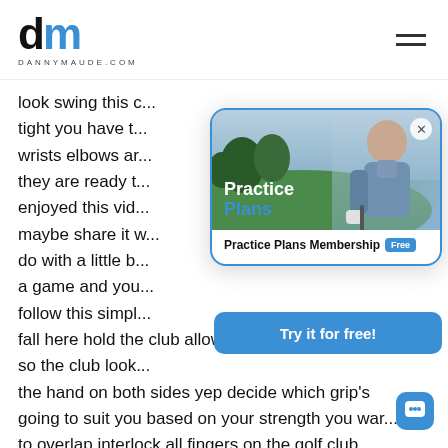dannymaude.com
look swing this ... tight you have t... wrists elbows a... they are ready t... enjoyed this vid... maybe share it ... do with a little b... a game and you... follow this simpl... fall here hold the club allow them to then stretch up so the club look... the hand on both sides yep decide which grip's going to suit you based on your strength you war... to overlap interlock all fingers on the golf club
[Figure (screenshot): Popup advertisement for Practice Plans Membership showing a man with a golf club on a course, with 'Practice Plans' text overlay and a 'Free' badge. Contains a 'Try it for free!' blue button.]